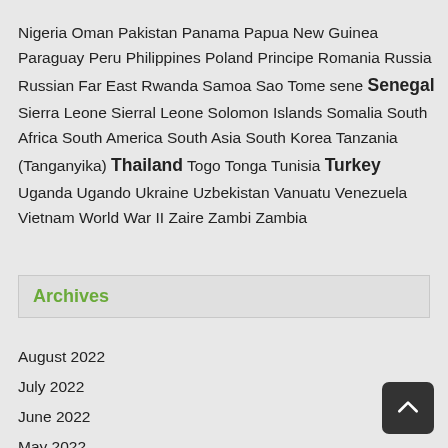Nigeria Oman Pakistan Panama Papua New Guinea Paraguay Peru Philippines Poland Principe Romania Russia Russian Far East Rwanda Samoa Sao Tome sene Senegal Sierra Leone Sierral Leone Solomon Islands Somalia South Africa South America South Asia South Korea Tanzania (Tanganyika) Thailand Togo Tonga Tunisia Turkey Uganda Ugando Ukraine Uzbekistan Vanuatu Venezuela Vietnam World War II Zaire Zambi Zambia
Archives
August 2022
July 2022
June 2022
May 2022